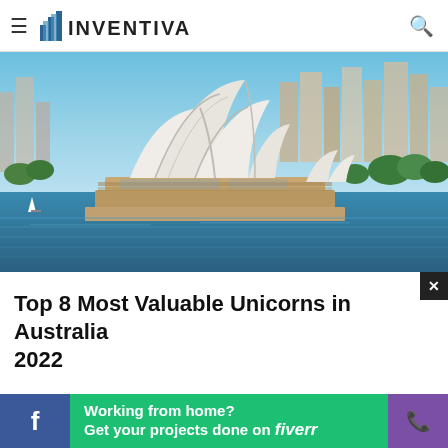INVENTIVA
[Figure (photo): Aerial photo of Sydney Opera House with harbour, city skyline, blue sky, and green trees in the background.]
Top 8 Most Valuable Unicorns in Australia 2022
[Figure (infographic): Bottom banner ad: Facebook icon on left (blue), Fiverr ad in green center reading 'Working from home? Get your projects done on fiverr', phone icon on right (purple). Close button (X) in black top-right of banner area.]